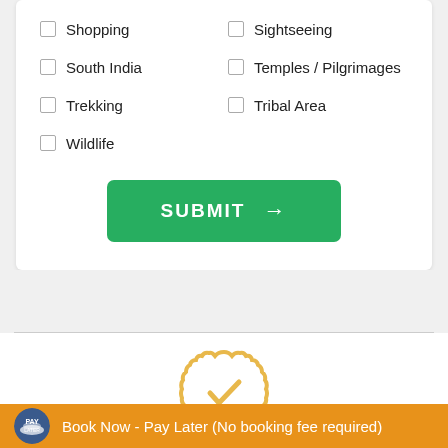Shopping
Sightseeing
South India
Temples / Pilgrimages
Trekking
Tribal Area
Wildlife
[Figure (other): Green SUBMIT button with arrow icon]
[Figure (other): Gold badge/seal icon with checkmark]
Affordable Journeys
Book Now - Pay Later (No booking fee required)